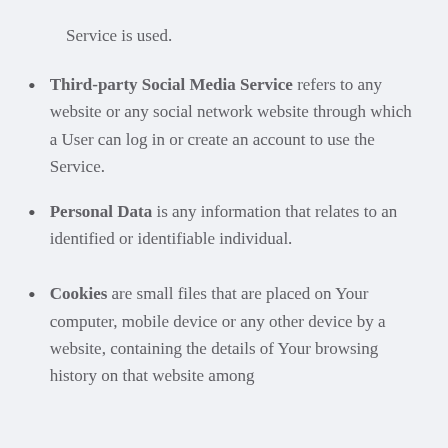Service is used.
Third-party Social Media Service refers to any website or any social network website through which a User can log in or create an account to use the Service.
Personal Data is any information that relates to an identified or identifiable individual.
Cookies are small files that are placed on Your computer, mobile device or any other device by a website, containing the details of Your browsing history on that website among